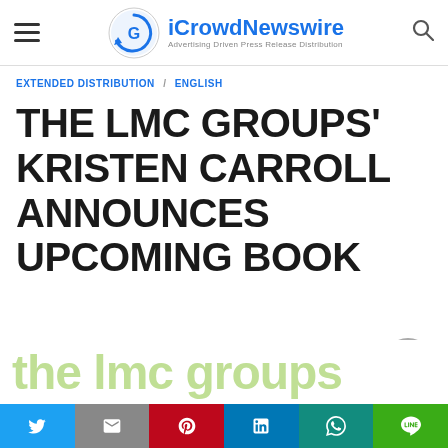iCrowdNewswire — Advertising Driven Press Release Distribution
EXTENDED DISTRIBUTION / ENGLISH
THE LMC GROUPS' KRISTEN CARROLL ANNOUNCES UPCOMING BOOK
[Figure (logo): Bottom watermark text reading 'the lmc groups' in light green]
Social sharing bar: Twitter, Gmail, Pinterest, LinkedIn, WhatsApp, Line